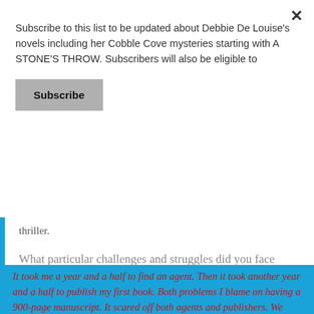Subscribe to this list to be updated about Debbie De Louise's novels including her Cobble Cove mysteries starting with A STONE'S THROW. Subscribers will also be eligible to
Subscribe
thriller.
What particular challenges and struggles did you face before first becoming published?
It took me a year and a half to find an agent.  Then it took another year and a half to publish my first book.  Both problems I blame on having a 900-page manuscript.  It scared off both agents and publishers.  We finally decided to separate it into my first to books and it was picked up within a month.